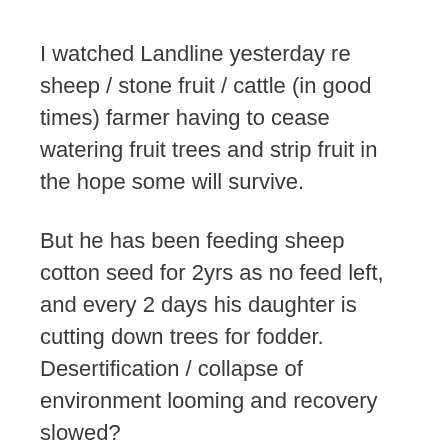I watched Landline yesterday re sheep / stone fruit / cattle (in good times) farmer having to cease watering fruit trees and strip fruit in the hope some will survive.
But he has been feeding sheep cotton seed for 2yrs as no feed left, and every 2 days his daughter is cutting down trees for fodder. Desertification / collapse of environment looming and recovery slowed?
When the feedback contains humans cutting trees for sheep, feeding them seed for 2yrs, I think the land use needs to be looked at and standards applied. I agree the owner of this property has probably fed me via my money, and is a “Proud hardworking Australians who would endure anything…